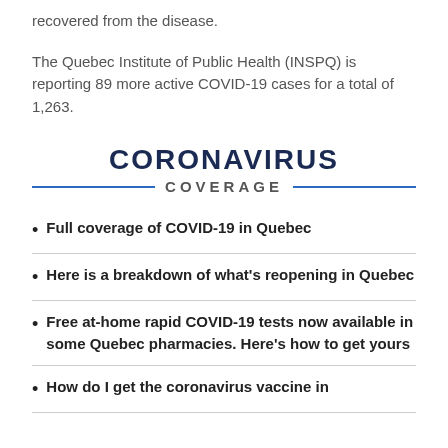recovered from the disease.
The Quebec Institute of Public Health (INSPQ) is reporting 89 more active COVID-19 cases for a total of 1,263.
[Figure (infographic): CORONAVIRUS COVERAGE banner with bold dark blue uppercase CORONAVIRUS text and a blue horizontal rule flanking the word COVERAGE in grey uppercase letters]
Full coverage of COVID-19 in Quebec
Here is a breakdown of what's reopening in Quebec
Free at-home rapid COVID-19 tests now available in some Quebec pharmacies. Here's how to get yours
How do I get the coronavirus vaccine in